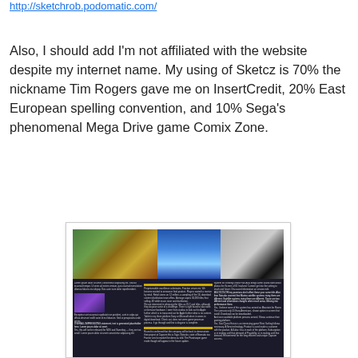http://sketchrob.podomatic.com/
Also, I should add I'm not affiliated with the website despite my internet name. My using of Sketcz is 70% the nickname Tim Rogers gave me on InsertCredit, 20% East European spelling convention, and 10% Sega's phenomenal Mega Drive game Comix Zone.
[Figure (screenshot): A scanned/photographed magazine spread showing colorful game screenshots on top and dense multi-column article text below on a dark background.]